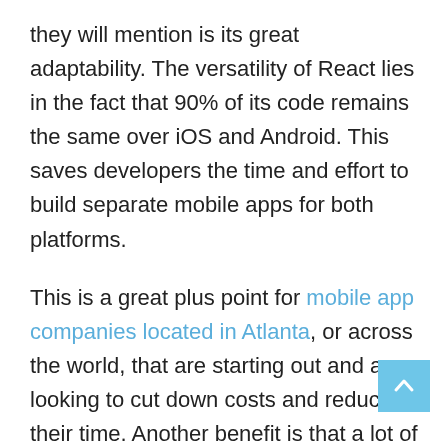they will mention is its great adaptability. The versatility of React lies in the fact that 90% of its code remains the same over iOS and Android. This saves developers the time and effort to build separate mobile apps for both platforms.
This is a great plus point for mobile app companies located in Atlanta, or across the world, that are starting out and are looking to cut down costs and reduce their time. Another benefit is that a lot of pre-built components in React's open-source library can be reused for free to build a mobile app.
3. 1 P...